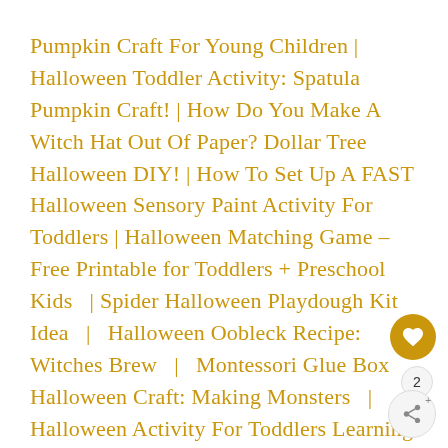Pumpkin Craft For Young Children | Halloween Toddler Activity: Spatula Pumpkin Craft! | How Do You Make A Witch Hat Out Of Paper? Dollar Tree Halloween DIY! | How To Set Up A FAST Halloween Sensory Paint Activity For Toddlers | Halloween Matching Game – Free Printable for Toddlers + Preschool Kids | Spider Halloween Playdough Kit Idea | Halloween Oobleck Recipe: Witches Brew | Montessori Glue Box Halloween Craft: Making Monsters | Halloween Activity For Toddlers Learning Colors: Feed The Monsters! | Halloween Counting Activity: A Ghostly Matching Game! | Room On The Broom Activity For Preschool Kids: Go...